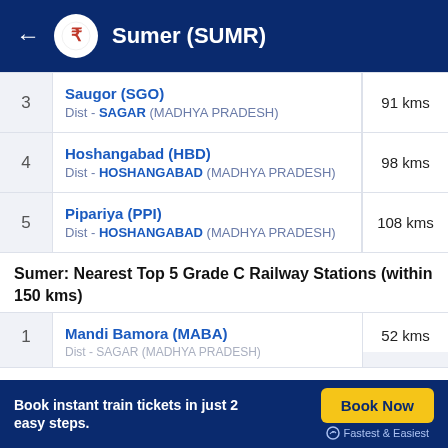Sumer (SUMR)
| # | Station | Distance |
| --- | --- | --- |
| 3 | Saugor (SGO)
Dist - SAGAR (MADHYA PRADESH) | 91 kms |
| 4 | Hoshangabad (HBD)
Dist - HOSHANGABAD (MADHYA PRADESH) | 98 kms |
| 5 | Pipariya (PPI)
Dist - HOSHANGABAD (MADHYA PRADESH) | 108 kms |
Sumer: Nearest Top 5 Grade C Railway Stations (within 150 kms)
| # | Station | Distance |
| --- | --- | --- |
| 1 | Mandi Bamora (MABA)
Dist - SAGAR (MADHYA PRADESH) | 52 kms |
Book instant train tickets in just 2 easy steps.